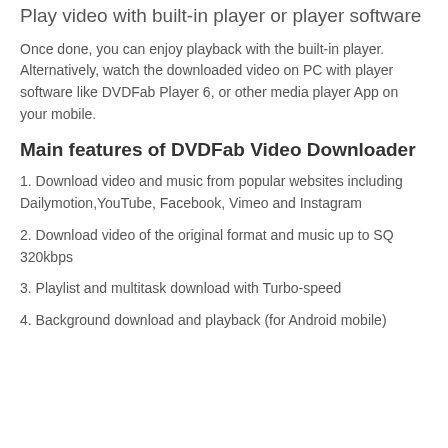Play video with built-in player or player software
Once done, you can enjoy playback with the built-in player. Alternatively, watch the downloaded video on PC with player software like DVDFab Player 6, or other media player App on your mobile.
Main features of DVDFab Video Downloader
1. Download video and music from popular websites including Dailymotion,YouTube, Facebook, Vimeo and Instagram
2. Download video of the original format and music up to SQ 320kbps
3. Playlist and multitask download with Turbo-speed
4. Background download and playback (for Android mobile)